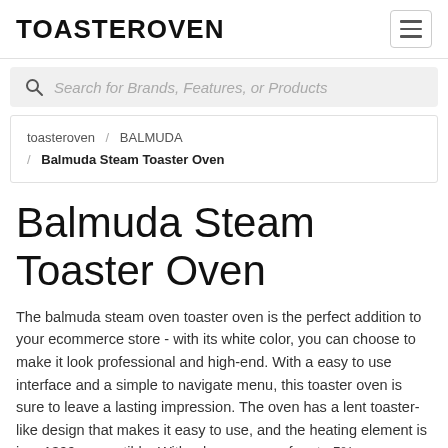TOASTEROVEN
Search for Brands, Features, or Products
toasteroven / BALMUDA / Balmuda Steam Toaster Oven
Balmuda Steam Toaster Oven
The balmuda steam oven toaster oven is the perfect addition to your ecommerce store - with its white color, you can choose to make it look professional and high-end. With a easy to use interface and a simple to navigate menu, this toaster oven is sure to leave a lasting impression. The oven has a lent toaster-like design that makes it easy to use, and the heating element is ieee1399 compatible. With a large range of up to 5% temperature